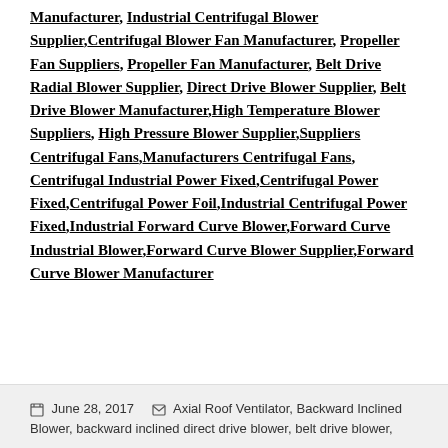Manufacturer, Industrial Centrifugal Blower Supplier,Centrifugal Blower Fan Manufacturer, Propeller Fan Suppliers, Propeller Fan Manufacturer, Belt Drive Radial Blower Supplier, Direct Drive Blower Supplier, Belt Drive Blower Manufacturer,High Temperature Blower Suppliers, High Pressure Blower Supplier,Suppliers Centrifugal Fans,Manufacturers Centrifugal Fans, Centrifugal Industrial Power Fixed,Centrifugal Power Fixed,Centrifugal Power Foil,Industrial Centrifugal Power Fixed,Industrial Forward Curve Blower,Forward Curve Industrial Blower,Forward Curve Blower Supplier,Forward Curve Blower Manufacturer
June 28, 2017   Axial Roof Ventilator, Backward Inclined Blower, backward inclined direct drive blower, belt drive blower,